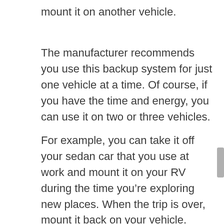mount it on another vehicle.
The manufacturer recommends you use this backup system for just one vehicle at a time. Of course, if you have the time and energy, you can use it on two or three vehicles.
For example, you can take it off your sedan car that you use at work and mount it on your RV during the time you're exploring new places. When the trip is over, mount it back on your vehicle.